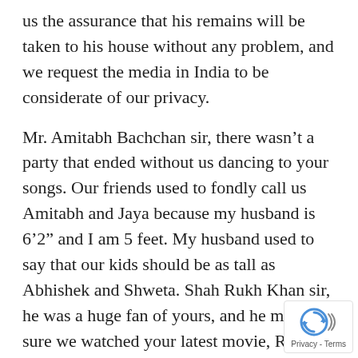us the assurance that his remains will be taken to his house without any problem, and we request the media in India to be considerate of our privacy.
Mr. Amitabh Bachchan sir, there wasn't a party that ended without us dancing to your songs. Our friends used to fondly call us Amitabh and Jaya because my husband is 6'2" and I am 5 feet. My husband used to say that our kids should be as tall as Abhishek and Shweta. Shah Rukh Khan sir, he was a huge fan of yours, and he made sure we watched your latest movie, Raees. I need all your support to pass this strong message of spreading love and giving confidence to every foreign national that their fight will be listened to.
I will now ask same question — On what basis we